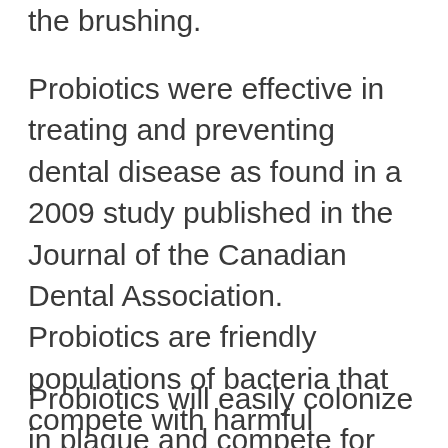the brushing.
Probiotics were effective in treating and preventing dental disease as found in a 2009 study published in the Journal of the Canadian Dental Association. Probiotics are friendly populations of bacteria that compete with harmful organisms for places to live and for food. They also help to balance the immune response.
Probiotics will easily colonize in plaque and compete for colonization sites and food